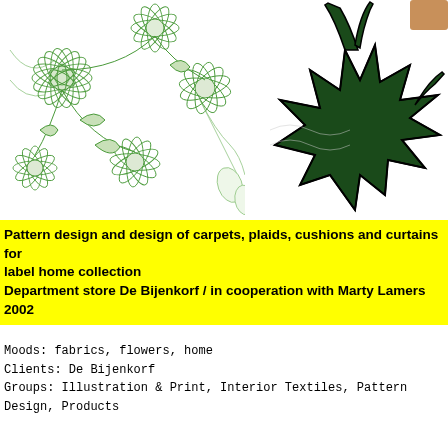[Figure (illustration): Left panel: green line-art illustration of chrysanthemum flowers on white background. Right panel: dark green solid leaf/floral silhouette illustration on white background with black outline, partially cropped.]
Pattern design and design of carpets, plaids, cushions and curtains for label home collection
Department store De Bijenkorf / in cooperation with Marty Lamers
2002
Moods: fabrics, flowers, home
Clients: De Bijenkorf
Groups: Illustration & Print, Interior Textiles, Pattern Design, Products